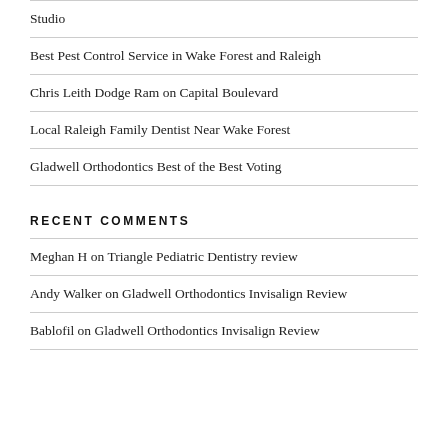Studio
Best Pest Control Service in Wake Forest and Raleigh
Chris Leith Dodge Ram on Capital Boulevard
Local Raleigh Family Dentist Near Wake Forest
Gladwell Orthodontics Best of the Best Voting
RECENT COMMENTS
Meghan H on Triangle Pediatric Dentistry review
Andy Walker on Gladwell Orthodontics Invisalign Review
Bablofil on Gladwell Orthodontics Invisalign Review